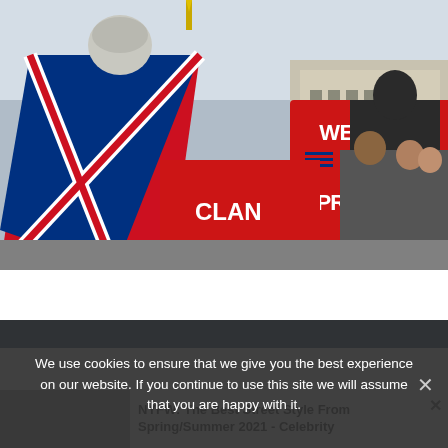[Figure (photo): Photo of a crowd scene near what appears to be Buckingham Palace. A man draped in a Union Jack flag holds a red sign reading 'WELCOME MR PRESIDENT' with American and British flag icons. Another person in the foreground wears red. Crowd visible in background.]
We use cookies to ensure that we give you the best experience on our website. If you continue to use this site we will assume that you are happy with it.
NYFW: The Best Street Style From Spring/Summer 2021 - Celebrity